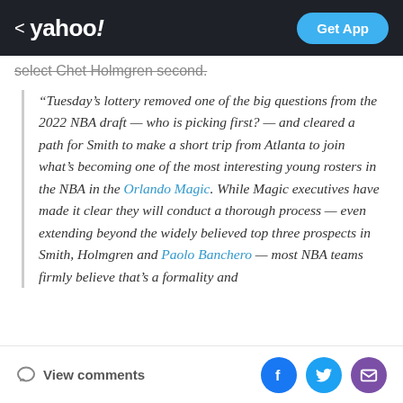< yahoo!   Get App
select Chet Holmgren second.
“Tuesday’s lottery removed one of the big questions from the 2022 NBA draft — who is picking first? — and cleared a path for Smith to make a short trip from Atlanta to join what’s becoming one of the most interesting young rosters in the NBA in the Orlando Magic. While Magic executives have made it clear they will conduct a thorough process — even extending beyond the widely believed top three prospects in Smith, Holmgren and Paolo Banchero — most NBA teams firmly believe that’s a formality and
View comments